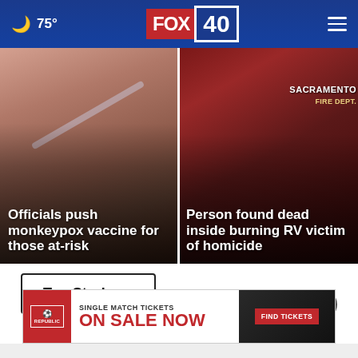FOX 40 | 75°
[Figure (photo): Close-up photo of a person receiving a vaccine injection, used as background for 'Officials push monkeypox vaccine for those at-risk' story]
Officials push monkeypox vaccine for those at-risk
[Figure (photo): Photo of a Sacramento Fire Department truck, used as background for 'Person found dead inside burning RV victim of homicide' story]
Person found dead inside burning RV victim of homicide
Top Stories ›
[Figure (screenshot): Advertisement banner: 'SINGLE MATCH TICKETS ON SALE NOW' with FIND TICKETS button, showing soccer imagery]